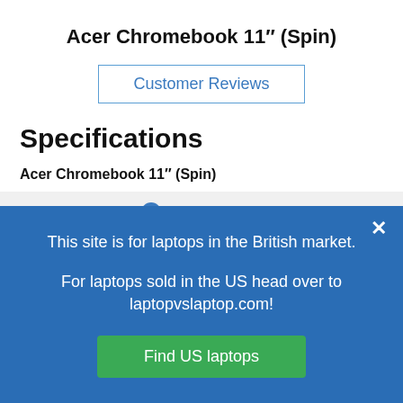Acer Chromebook 11" (Spin)
Customer Reviews
Specifications
Acer Chromebook 11" (Spin)
Processor (CPU)
This site is for laptops in the British market.
For laptops sold in the US head over to laptopvslaptop.com!
Find US laptops